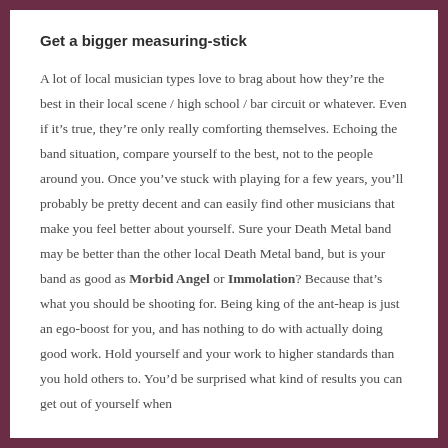Get a bigger measuring-stick
A lot of local musician types love to brag about how they’re the best in their local scene / high school / bar circuit or whatever. Even if it’s true, they’re only really comforting themselves. Echoing the band situation, compare yourself to the best, not to the people around you. Once you’ve stuck with playing for a few years, you’ll probably be pretty decent and can easily find other musicians that make you feel better about yourself. Sure your Death Metal band may be better than the other local Death Metal band, but is your band as good as Morbid Angel or Immolation? Because that’s what you should be shooting for. Being king of the ant-heap is just an ego-boost for you, and has nothing to do with actually doing good work. Hold yourself and your work to higher standards than you hold others to. You’d be surprised what kind of results you can get out of yourself when